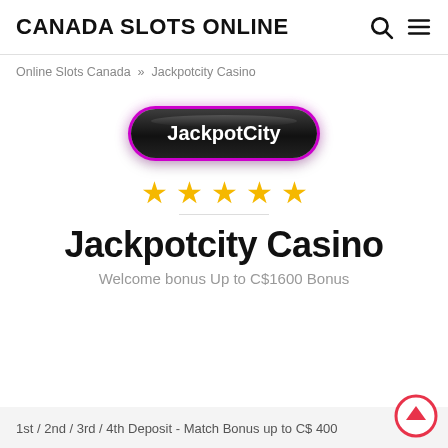CANADA SLOTS ONLINE
Online Slots Canada » Jackpotcity Casino
[Figure (logo): JackpotCity Casino logo — dark pill-shaped badge with magenta/pink glow outline and white text reading JackpotCity]
[Figure (infographic): Five gold star rating icons]
Jackpotcity Casino
Welcome bonus Up to C$1600 Bonus
1st / 2nd / 3rd / 4th Deposit - Match Bonus up to C$ 400